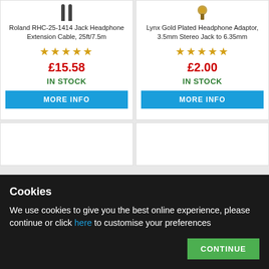[Figure (photo): Roland RHC-25-1414 Jack Headphone Extension Cable product image — two jack plugs visible at top]
Roland RHC-25-1414 Jack Headphone Extension Cable, 25ft/7.5m
★★★★★
£15.58
IN STOCK
MORE INFO
[Figure (photo): Lynx Gold Plated Headphone Adaptor product image — gold adaptor visible at top]
Lynx Gold Plated Headphone Adaptor, 3.5mm Stereo Jack to 6.35mm
★★★★★
£2.00
IN STOCK
MORE INFO
Cookies
We use cookies to give you the best online experience, please continue or click here to customise your preferences
CONTINUE